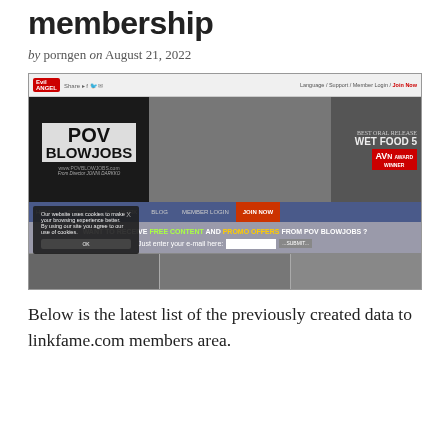membership
by porngen on August 21, 2022
[Figure (screenshot): Screenshot of PovBlowjobs.com website showing the POV BLOWJOBS logo, navigation bar with HOME, SCENES, NETWORK, BLOG, MEMBER LOGIN, JOIN NOW tabs, a promotional banner for free content and promo offers, a cookie consent popup, and thumbnail images at the bottom]
Below is the latest list of the previously created data to linkfame.com members area.